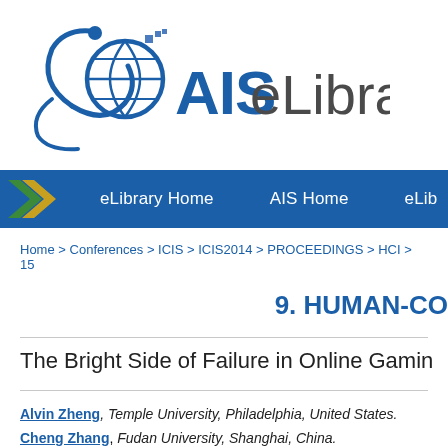[Figure (logo): AIS eLibrary logo with globe and person icon, text reads AIS eLibrary]
eLibrary Home   AIS Home   eLib
Home > Conferences > ICIS > ICIS2014 > PROCEEDINGS > HCI > 15
9. HUMAN-CO
The Bright Side of Failure in Online Gamin
Alvin Zheng, Temple University, Philadelphia, United States.
Cheng Zhang, Fudan University, Shanghai, China.